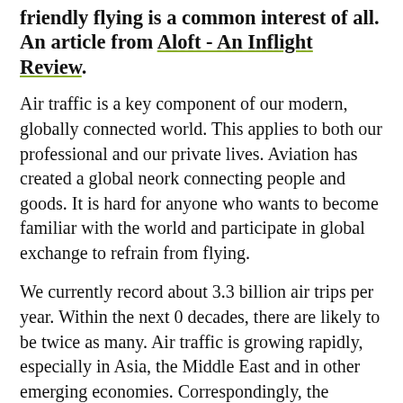friendly flying is a common interest of all. An article from Aloft - An Inflight Review.
Air traffic is a key component of our modern, globally connected world. This applies to both our professional and our private lives. Aviation has created a global neork connecting people and goods. It is hard for anyone who wants to become familiar with the world and participate in global exchange to refrain from flying.
We currently record about 3.3 billion air trips per year. Within the next 0 decades, there are likely to be twice as many. Air traffic is growing rapidly, especially in Asia, the Middle East and in other emerging economies. Correspondingly, the number of passenger aircraft will increase, and, in the next en years, it is expected to double to around 37,500 jets.